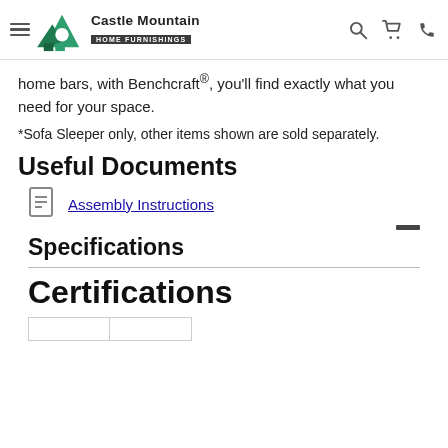Castle Mountain Home Furnishings
home bars, with Benchcraft®, you'll find exactly what you need for your space.
*Sofa Sleeper only, other items shown are sold separately.
Useful Documents
Assembly Instructions
Specifications
Certifications